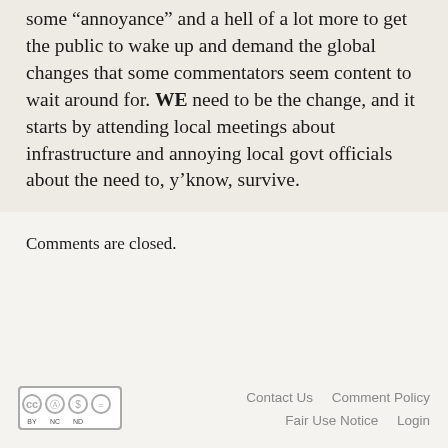some “annoyance” and a hell of a lot more to get the public to wake up and demand the global changes that some commentators seem content to wait around for. WE need to be the change, and it starts by attending local meetings about infrastructure and annoying local govt officials about the need to, y’know, survive.
Comments are closed.
[Figure (logo): Creative Commons BY NC ND license badge]
Contact Us   Comment Policy   Fair Use Notice   Login